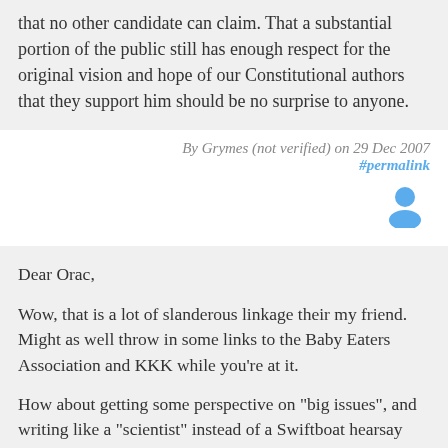that no other candidate can claim. That a substantial portion of the public still has enough respect for the original vision and hope of our Constitutional authors that they support him should be no surprise to anyone.
By Grymes (not verified) on 29 Dec 2007 #permalink
[Figure (illustration): User avatar icon — a simple blue person silhouette]
Dear Orac,
Wow, that is a lot of slanderous linkage their my friend. Might as well throw in some links to the Baby Eaters Association and KKK while you're at it.
How about getting some perspective on "big issues", and writing like a "scientist" instead of a Swiftboat hearsay repeating wacko who finds people guilty by association and being donated